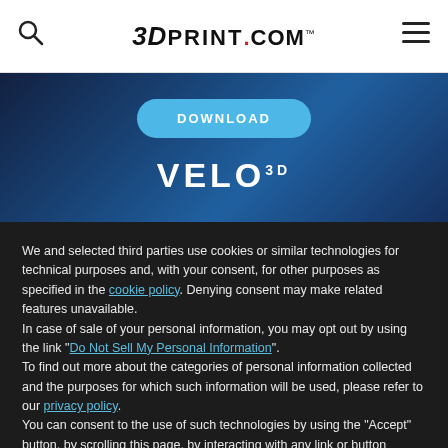3DPrint.com
[Figure (screenshot): Website banner with DOWNLOAD button and VELO 3D logo on dark blue gradient background]
We and selected third parties use cookies or similar technologies for technical purposes and, with your consent, for other purposes as specified in the cookie policy. Denying consent may make related features unavailable.
In case of sale of your personal information, you may opt out by using the link "Do Not Sell My Personal Information".
To find out more about the categories of personal information collected and the purposes for which such information will be used, please refer to our privacy policy.
You can consent to the use of such technologies by using the "Accept" button, by scrolling this page, by interacting with any link or button outside of this notice or by continuing to browse otherwise.
Reject
Accept
Learn more and customize